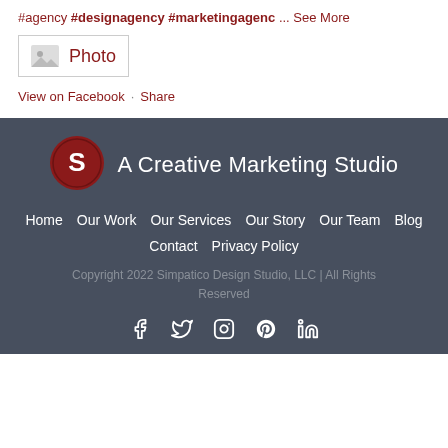#agency #designagency #marketingagenc ... See More
[Figure (other): Photo icon with label 'Photo']
View on Facebook · Share
[Figure (logo): Simpatico Design Studio logo - red circle with white S]
A Creative Marketing Studio
Home  Our Work  Our Services  Our Story  Our Team  Blog
Contact  Privacy Policy
Copyright 2022 Simpatico Design Studio, LLC | All Rights Reserved
[Figure (other): Social media icons: Facebook, Twitter, Instagram, Pinterest, LinkedIn]